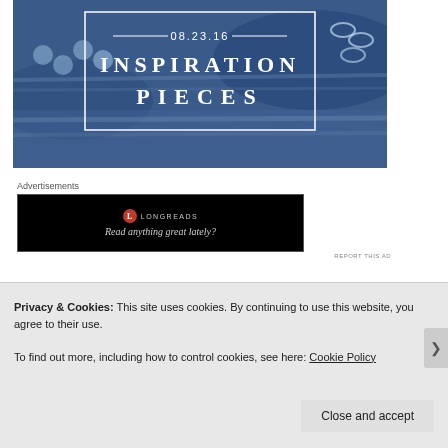[Figure (illustration): Blog post header image with blue/navy toned background showing jewelry and books. White rectangle border overlay with text '08.23.16' and 'INSPIRATION PIECES' in white serif font.]
Advertisements
[Figure (screenshot): Black advertisement banner for Longreads with red circle logo and text 'LONGREADS' and tagline 'Read anything great lately?']
REPORT THIS AD
Privacy & Cookies: This site uses cookies. By continuing to use this website, you agree to their use.
To find out more, including how to control cookies, see here: Cookie Policy